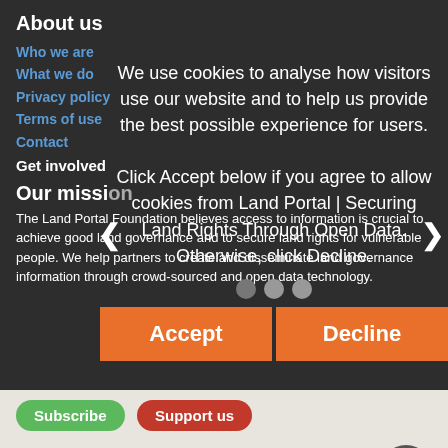About us
Who we are
What we do
Privacy policy
Terms of use
Contact
Get involved
Our missi[on]
The Land Portal Foundation believes access to information is crucial to achieve good land governance and to secure land rights for vulnerable people. We help partners to create and disseminate land governance information through crowd-sourced and open data technology.
We use cookies to analyse how visitors use our website and to help us provide the best possible experience for users.

Click Accept below if you agree to allow cookies from Land Portal | Securing Land Rights Through Open Data. Otherwise, click Decline.
Accept
Decline
Subscribe
Support us
Creative Commons Attribution, 2014–2022 Land Portal Foundation / RSIN 854330045